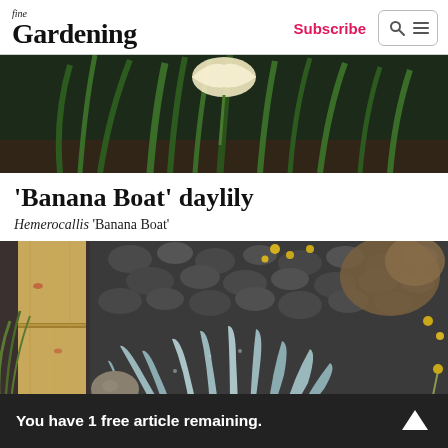fine Gardening — Subscribe
[Figure (photo): Close-up photo of a daylily bloom with green foliage in dark background]
'Banana Boat' daylily
Hemerocallis 'Banana Boat'
[Figure (photo): Garden photo showing a bamboo trunk, blue-grey agave plants with spiky leaves, dark rounded pebbles, and small yellow wildflowers]
You have 1 free article remaining.